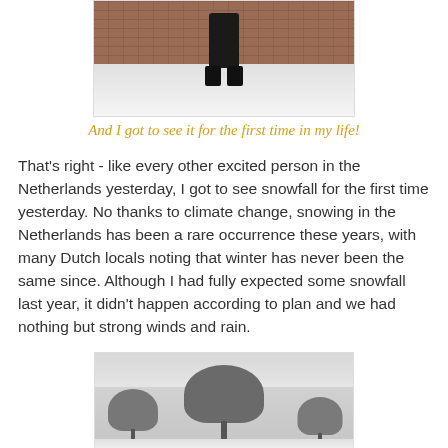[Figure (photo): Bottom half of a person wearing dark winter boots and pants, jumping or standing in snow with a brick wall background]
And I got to see it for the first time in my life!
That's right - like every other excited person in the Netherlands yesterday, I got to see snowfall for the first time yesterday. No thanks to climate change, snowing in the Netherlands has been a rare occurrence these years, with many Dutch locals noting that winter has never been the same since. Although I had fully expected some snowfall last year, it didn't happen according to plan and we had nothing but strong winds and rain.
[Figure (photo): Snow-covered bare trees in winter landscape with grey sky, misty and grey tones]